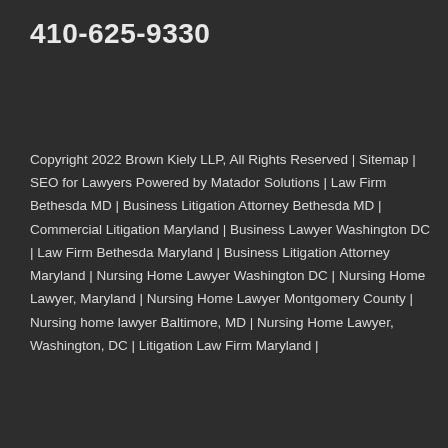410-625-9330
Copyright 2022 Brown Kiely LLP, All Rights Reserved | Sitemap | SEO for Lawyers Powered by Matador Solutions | Law Firm Bethesda MD | Business Litigation Attorney Bethesda MD | Commercial Litigation Maryland | Business Lawyer Washington DC | Law Firm Bethesda Maryland | Business Litigation Attorney Maryland | Nursing Home Lawyer Washington DC | Nursing Home Lawyer, Maryland | Nursing Home Lawyer Montgomery County | Nursing home lawyer Baltimore, MD | Nursing Home Lawyer, Washington, DC | Litigation Law Firm Maryland |